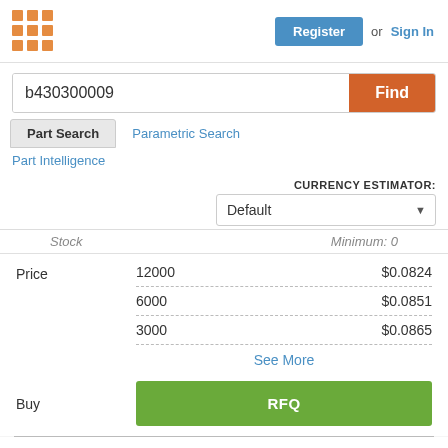[Figure (logo): Orange grid/dots logo icon]
Register  or  Sign In
b430300009  Find
Part Search   Parametric Search
Part Intelligence
CURRENCY ESTIMATOR: Default
|  | Qty | Price |
| --- | --- | --- |
| Price | 12000 | $0.0824 |
|  | 6000 | $0.0851 |
|  | 3000 | $0.0865 |
See More
Buy   RFQ
Part #   0430300009
DISTI # V36:1790_26798725
Mfg   Molex